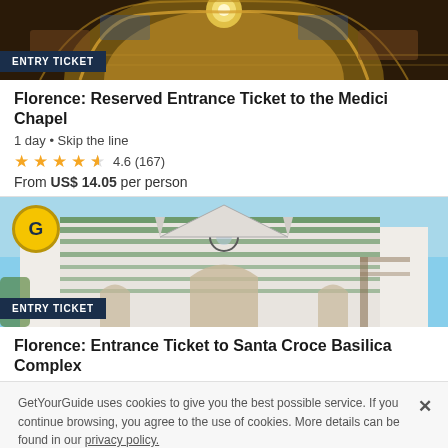[Figure (photo): Interior ceiling of Medici Chapel, ornate golden dome with frescoes]
ENTRY TICKET
Florence: Reserved Entrance Ticket to the Medici Chapel
1 day • Skip the line
★★★★½ 4.6 (167)
From US$ 14.05 per person
[Figure (photo): Exterior facade of Santa Croce Basilica in Florence, white marble Gothic church]
ENTRY TICKET
Florence: Entrance Ticket to Santa Croce Basilica Complex
GetYourGuide uses cookies to give you the best possible service. If you continue browsing, you agree to the use of cookies. More details can be found in our privacy policy.